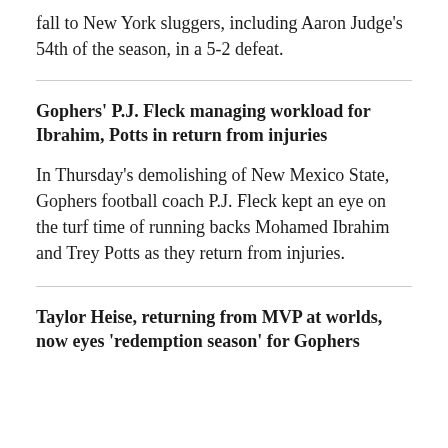fall to New York sluggers, including Aaron Judge's 54th of the season, in a 5-2 defeat.
Gophers' P.J. Fleck managing workload for Ibrahim, Potts in return from injuries
In Thursday's demolishing of New Mexico State, Gophers football coach P.J. Fleck kept an eye on the turf time of running backs Mohamed Ibrahim and Trey Potts as they return from injuries.
Taylor Heise, returning from MVP at worlds, now eyes 'redemption season' for Gophers